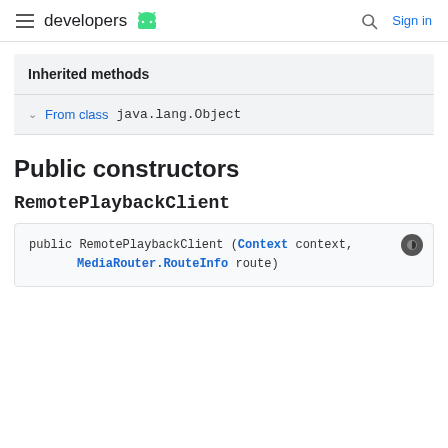developers [android logo] | [search] Sign in
Inherited methods
From class java.lang.Object
Public constructors
RemotePlaybackClient
public RemotePlaybackClient (Context context,
                MediaRouter.RouteInfo route)